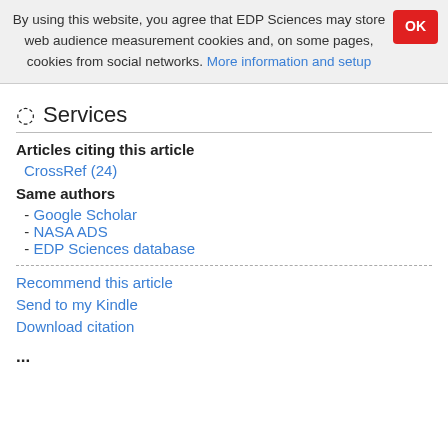By using this website, you agree that EDP Sciences may store web audience measurement cookies and, on some pages, cookies from social networks. More information and setup
Services
Articles citing this article
CrossRef (24)
Same authors
- Google Scholar
- NASA ADS
- EDP Sciences database
Recommend this article
Send to my Kindle
Download citation